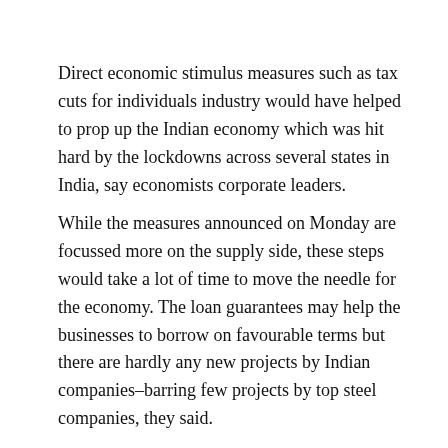Direct economic stimulus measures such as tax cuts for individuals industry would have helped to prop up the Indian economy which was hit hard by the lockdowns across several states in India, say economists corporate leaders.
While the measures announced on Monday are focussed more on the supply side, these steps would take a lot of time to move the needle for the economy. The loan guarantees may help the businesses to borrow on favourable terms but there are hardly any new projects by Indian companies–barring few projects by top steel companies, they said.